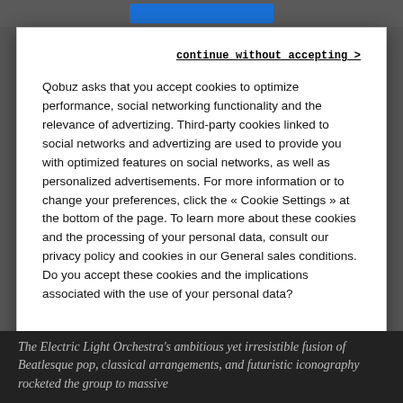[Figure (screenshot): Blue button at top of page background]
continue without accepting >
Qobuz asks that you accept cookies to optimize performance, social networking functionality and the relevance of advertizing. Third-party cookies linked to social networks and advertizing are used to provide you with optimized features on social networks, as well as personalized advertisements. For more information or to change your preferences, click the « Cookie Settings » at the bottom of the page. To learn more about these cookies and the processing of your personal data, consult our privacy policy and cookies in our General sales conditions. Do you accept these cookies and the implications associated with the use of your personal data?
Accept
Cookies Settings
The Electric Light Orchestra's ambitious yet irresistible fusion of Beatlesque pop, classical arrangements, and futuristic iconography rocketed the group to massive